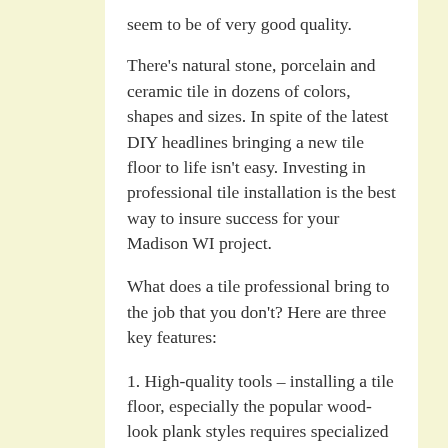seem to be of very good quality.
There's natural stone, porcelain and ceramic tile in dozens of colors, shapes and sizes. In spite of the latest DIY headlines bringing a new tile floor to life isn't easy. Investing in professional tile installation is the best way to insure success for your Madison WI project.
What does a tile professional bring to the job that you don't? Here are three key features:
1. High-quality tools – installing a tile floor, especially the popular wood-look plank styles requires specialized tools.
2. Experience, training and skill – hand in hand with professional tools are the skill, training and knowledge to use them correctly. No weekend classes replace years of on-the-job experience.